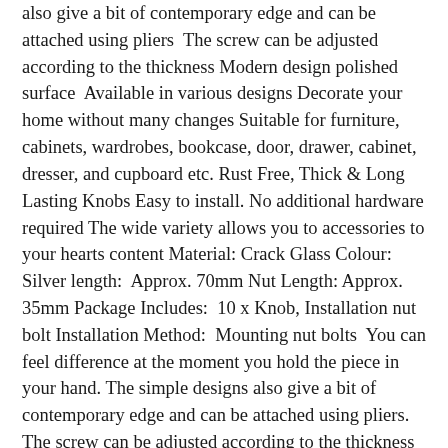also give a bit of contemporary edge and can be attached using pliers  The screw can be adjusted according to the thickness Modern design polished surface  Available in various designs Decorate your home without many changes Suitable for furniture, cabinets, wardrobes, bookcase, door, drawer, cabinet, dresser, and cupboard etc. Rust Free, Thick & Long Lasting Knobs Easy to install. No additional hardware required The wide variety allows you to accessories to your hearts content Material: Crack Glass Colour: Silver length:  Approx. 70mm Nut Length: Approx. 35mm Package Includes:  10 x Knob, Installation nut bolt Installation Method:  Mounting nut bolts  You can feel difference at the moment you hold the piece in your hand. The simple designs also give a bit of contemporary edge and can be attached using pliers. The screw can be adjusted according to the thickness of the